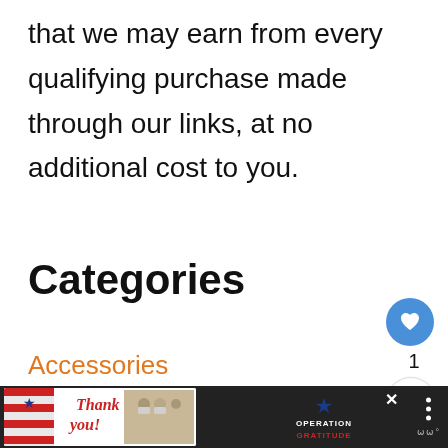that we may earn from every qualifying purchase made through our links, at no additional cost to you.
Categories
Accessories
Buying Guides
Fabric
[Figure (screenshot): Social sharing UI: heart/like button (blue circle), count '1', share button]
[Figure (screenshot): What's Next panel: thumbnail image of people, label 'WHAT'S NEXT →', text 'Bandana Colors To...']
[Figure (screenshot): Bottom ad banner: 'Thank you' Operation Gratitude advertisement with close button and menu icon on dark background]